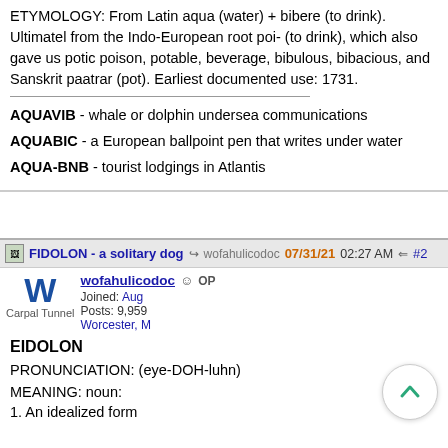ETYMOLOGY: From Latin aqua (water) + bibere (to drink). Ultimately from the Indo-European root poi- (to drink), which also gave us potion, poison, potable, beverage, bibulous, bibacious, and Sanskrit paatram (pot). Earliest documented use: 1731.
AQUAVIB - whale or dolphin undersea communications
AQUABIC - a European ballpoint pen that writes under water
AQUA-BNB - tourist lodgings in Atlantis
FIDOLON - a solitary dog   wofahulicodoc   07/31/21 02:27 AM   #2
wofahulicodoc OP
Carpal Tunnel
Joined: Aug
Posts: 9,959
Worcester, M
EIDOLON
PRONUNCIATION: (eye-DOH-luhn)
MEANING: noun:
1. An idealized form